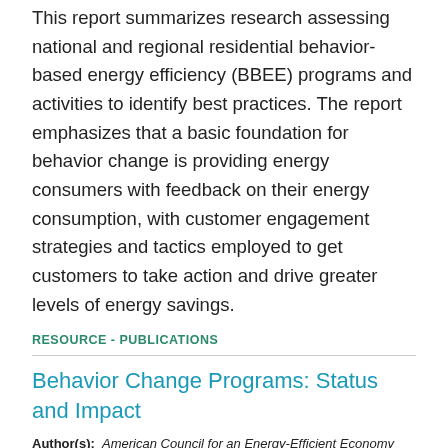This report summarizes research assessing national and regional residential behavior-based energy efficiency (BBEE) programs and activities to identify best practices. The report emphasizes that a basic foundation for behavior change is providing energy consumers with feedback on their energy consumption, with customer engagement strategies and tactics employed to get customers to take action and drive greater levels of energy savings.
RESOURCE - PUBLICATIONS
Behavior Change Programs: Status and Impact
Author(s): American Council for an Energy-Efficient Economy
Publication Date: 2016
Organizations or Programs:
Vermont Home Energy Challenge, Efficiency Nova Scotia, Narragansett EnergyWise, Cool California Challenge, San Diego Energy Challenge, Narragansett Residential New Construction